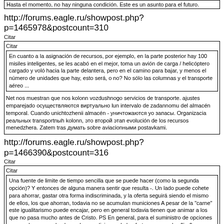Hasta el momento, no hay ninguna condición. Este es un asunto para el futuro.
http://forums.eagle.ru/showpost.php?p=1465978&postcount=310
Citar
Citar
En cuanto a la asignación de recursos, por ejemplo, en la parte posterior hay 100 misiles inteligentes, se les acabó en el mejor, toma un avión de carga / helicóptero cargado y voló hacia la parte delantera, pero en el camino para bajar, y menos el número de unidades que hay, esto será, o no? No sólo las columnas y el transporte aéreo ...
Net nos muestran que nos kolonn vozdushnogo servicios de transporte. ajustes emparejado осуществляются виртуально lun intervalo de zadannomu del almacén temporal. Cuando unichtozhenii almacén - уничтожаются yo запасы. Organizacia реальных transportnыh kolonn, это второй этап evolución de los recursos menedzhera. Zatem tras думать sobre aviacionными postavkami.
http://forums.eagle.ru/showpost.php?p=1466390&postcount=316
Citar
Citar
Una fuente de limite de tiempo sencilla que se puede hacer (como la segunda opción)? Y entonces de alguna manera sentir que resulta -. Un lado puede cohete para ahorrar, gastar otra forma indiscriminada, y la oferta seguirá siendo el mismo de ellos, los que ahorran, todavia no se acumulan municiones A pesar de la "carne" este igualitarismo puede encajar, pero en general todavia tienen que animar a los que no pasa mucho antes de Cristo. PS En general, para el suministro de opciones avanzadas se pueden hacer las condiciones de la oferta, como en los flip-flops, pero realmente missiodel decidirá la forma de regular el suministro de la misma. Puede enlazar a la vez que puede para destruir objetivos enemigos, es posible agotar la munición actual, usted puede hacer ballanser de coaliciones BC (de nuevo por la "carne"), y suministros generales se puede atar a cualquier cosa.